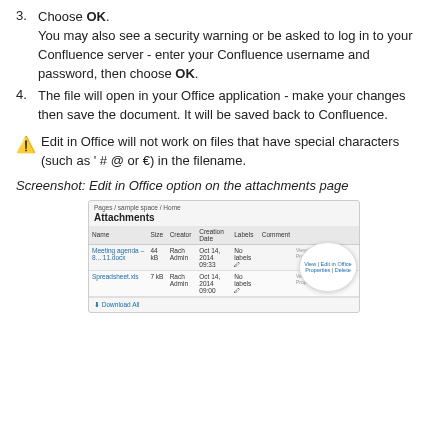3. Choose OK. You may also see a security warning or be asked to log in to your Confluence server - enter your Confluence username and password, then choose OK.
4. The file will open in your Office application - make your changes then save the document. It will be saved back to Confluence.
⚠ Edit in Office will not work on files that have special characters (such as ' # @ or €) in the filename.
Screenshot: Edit in Office option on the attachments page
[Figure (screenshot): Screenshot of Confluence Attachments page showing a table with columns Name, Size, Creator, Creation Date, Labels, Comment, and a highlighted callout showing 'View | Edit in Office | Properties | Delete' options for two attached files.]